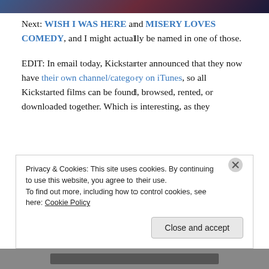[Figure (photo): Top image strip showing a dark blue and red blurred scene]
Next: WISH I WAS HERE and MISERY LOVES COMEDY, and I might actually be named in one of those.
EDIT: In email today, Kickstarter announced that they now have their own channel/category on iTunes, so all Kickstarted films can be found, browsed, rented, or downloaded together. Which is interesting, as they
Privacy & Cookies: This site uses cookies. By continuing to use this website, you agree to their use.
To find out more, including how to control cookies, see here: Cookie Policy
Close and accept